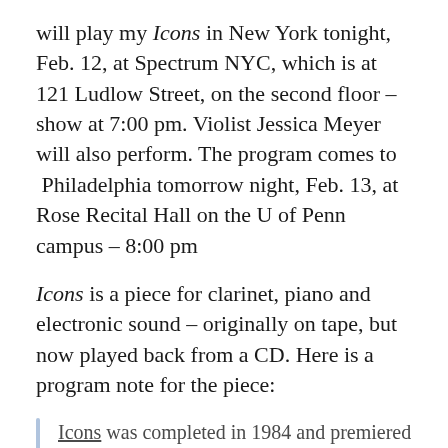will play my Icons in New York tonight, Feb. 12, at Spectrum NYC, which is at 121 Ludlow Street, on the second floor – show at 7:00 pm. Violist Jessica Meyer will also perform. The program comes to Philadelphia tomorrow night, Feb. 13, at Rose Recital Hall on the U of Penn campus – 8:00 pm
Icons is a piece for clarinet, piano and electronic sound – originally on tape, but now played back from a CD. Here is a program note for the piece:
Icons was completed in 1984 and premiered later that year at Tanglewood. The tape part was realized, using analog devices, at the